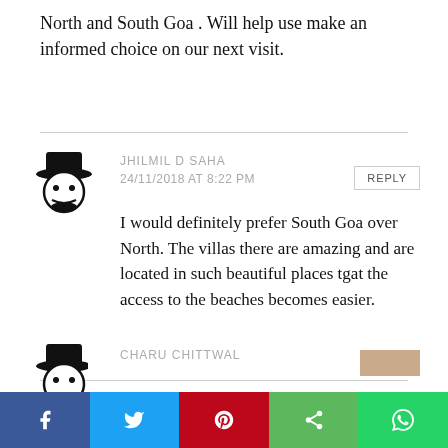North and South Goa . Will help use make an informed choice on our next visit.
JHILMIL D SAHA
24/11/2018 AT 8:22 PM
I would definitely prefer South Goa over North. The villas there are amazing and are located in such beautiful places tgat the access to the beaches becomes easier.
CHARU CHITTWAL